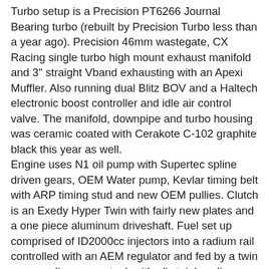Turbo setup is a Precision PT6266 Journal Bearing turbo (rebuilt by Precision Turbo less than a year ago). Precision 46mm wastegate, CX Racing single turbo high mount exhaust manifold and 3" straight Vband exhausting with an Apexi Muffler. Also running dual Blitz BOV and a Haltech electronic boost controller and idle air control valve. The manifold, downpipe and turbo housing was ceramic coated with Cerakote C-102 graphite black this year as well.
Engine uses N1 oil pump with Supertec spline driven gears, OEM Water pump, Kevlar timing belt with ARP timing stud and new OEM pullies. Clutch is an Exedy Hyper Twin with fairly new plates and a one piece aluminum driveshaft. Fuel set up comprised of ID2000cc injectors into a radium rail controlled with an AEM regulator and fed by a twin pump radium surge tank with all stainless lines.
Other notable engine bay things are lots of custom power coating, 4" velocity stack, Godspeed 3" aluminum radiator, custom water/vacuum lines, Haltech Idle Control, GM LQ9 ignition, Focused Motorsports Ignition Mount.
Inside the car, carpet has been stripped and everything has been resurfaced with bed liner, which has been awesome! Running a pair of Sparco Sprinter V seats, a 6-point roll cage, no rear seats, and a custom switch panel. Innovative boost and wideband